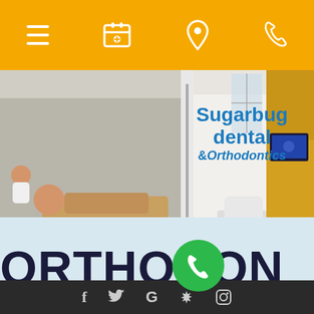[Figure (screenshot): Dental clinic website screenshot showing mobile navigation bar with hamburger menu, appointment, location, and phone icons on golden/amber background]
[Figure (photo): Interior of Sugarbug Dental & Orthodontics clinic showing waiting area and treatment rooms with patients and white chairs]
Sugarbug dental & Orthodontics
ORTHODONTICS
f  Twitter  G  Yelp  Instagram